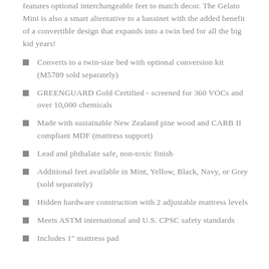features optional interchangeable feet to match decor. The Gelato Mini is also a smart alternative to a bassinet with the added benefit of a convertible design that expands into a twin bed for all the big kid years!
Converts to a twin-size bed with optional conversion kit (M5789 sold separately)
GREENGUARD Gold Certified - screened for 360 VOCs and over 10,000 chemicals
Made with sustainable New Zealand pine wood and CARB II compliant MDF (mattress support)
Lead and phthalate safe, non-toxic finish
Additional feet available in Mint, Yellow, Black, Navy, or Grey (sold separately)
Hidden hardware construction with 2 adjustable mattress levels
Meets ASTM international and U.S. CPSC safety standards
Includes 1" mattress pad